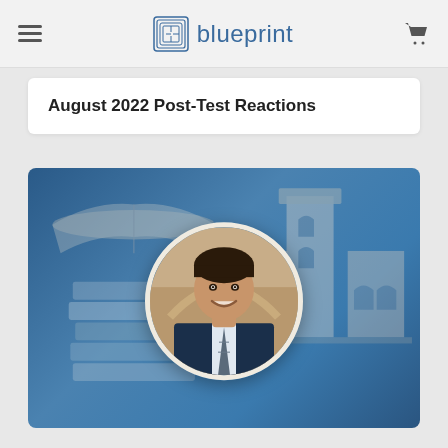blueprint
August 2022 Post-Test Reactions
[Figure (photo): A smiling young man in a suit and tie, shown in a circular portrait frame, overlaid on a blue-tinted background featuring stacked books on the left and a campus building (Royce Hall, UCLA) on the right.]